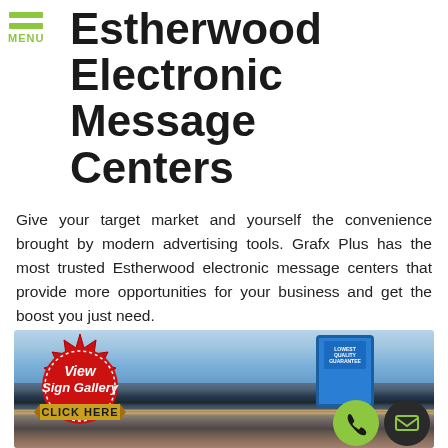MENU
Estherwood Electronic Message Centers
Give your target market and yourself the convenience brought by modern advertising tools. Grafx Plus has the most trusted Estherwood electronic message centers that provide more opportunities for your business and get the boost you just need.
[Figure (photo): Store interior photo showing shelves with products and a digital display screen mounted above. Overlaid with a red circular 'View Sign Gallery' badge and gold 'CLICK HERE' banner. Bottom right shows phone and email contact icon buttons.]